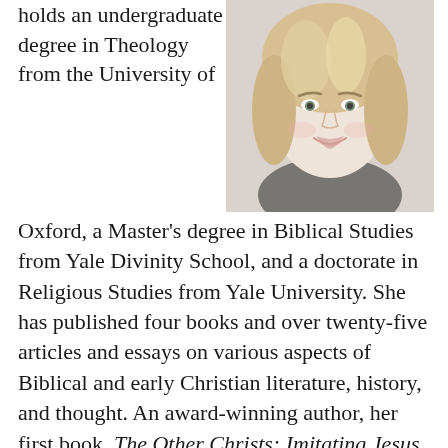[Figure (photo): Headshot of a blonde woman smiling, wearing a dark top, against a light background.]
holds an undergraduate degree in Theology from the University of Oxford, a Master's degree in Biblical Studies from Yale Divinity School, and a doctorate in Religious Studies from Yale University. She has published four books and over twenty-five articles and essays on various aspects of Biblical and early Christian literature, history, and thought. An award-winning author, her first book, The Other Christs: Imitating Jesus in Ancient Christian Ideologies of Martyrdom (Oxford, 2010) was awarded the 2011 John Templeton Award for Theological Promise and she has been the recipient of grants and awards from the Woodrow Wilson Foundation, the John Templeton